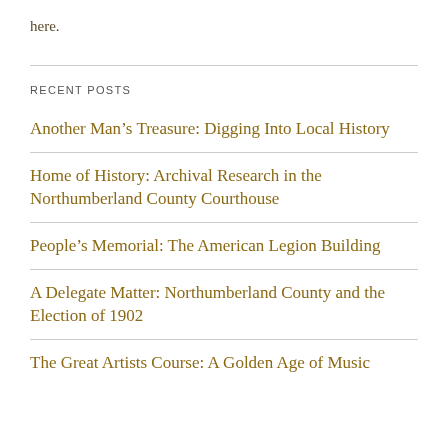here.
RECENT POSTS
Another Man's Treasure: Digging Into Local History
Home of History: Archival Research in the Northumberland County Courthouse
People's Memorial: The American Legion Building
A Delegate Matter: Northumberland County and the Election of 1902
The Great Artists Course: A Golden Age of Music